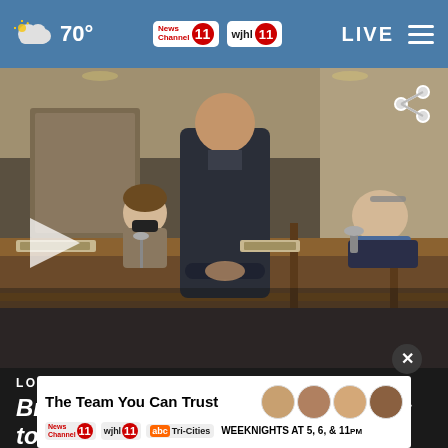70° News Channel 11 wjhl 11 LIVE
[Figure (screenshot): Video still from a government meeting showing a man in dark suit standing before council members seated at a wood panel bench, with a play button overlay and share icon]
LOCAL
Bristol, Virginia landfill issue leads to heated council meeting
[Figure (infographic): Ad banner: The Team You Can Trust - News Channel 11, wjhl 11, abc Tri-Cities, WEEKNIGHTS AT 5, 6, & 11pm with photos of anchors]